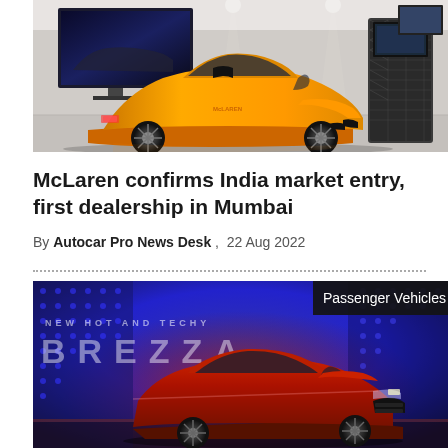[Figure (photo): McLaren supercar in a showroom. An orange/yellow McLaren sports car is parked in a modern dealership showroom with a large TV screen on the wall and a carbon-fiber display stand on the right.]
McLaren confirms India market entry, first dealership in Mumbai
By Autocar Pro News Desk ,  22 Aug 2022
[Figure (photo): Maruti Suzuki Brezza SUV on a stage with red and blue lighting. Text on the backdrop reads NEW HOT AND TECHY BREZZA. A Passenger Vehicles badge is shown in the top right corner.]